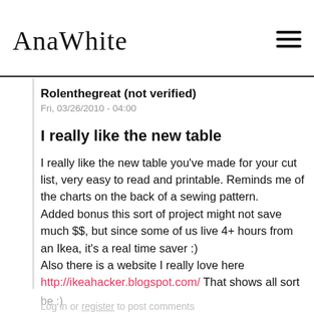AnaWhite
Rolenthegreat (not verified)
Fri, 03/26/2010 - 04:00
I really like the new table
I really like the new table you've made for your cut list, very easy to read and printable. Reminds me of the charts on the back of a sewing pattern.
Added bonus this sort of project might not save much $$, but since some of us live 4+ hours from an Ikea, it's a real time saver :)
Also there is a website I really love here http://ikeahacker.blogspot.com/ That shows all sort of people doing creative things with Ikea products. If you do a search for 'Billy' you end up with some amazing examples of how versatile these things can be :)
Log in or register to post comments